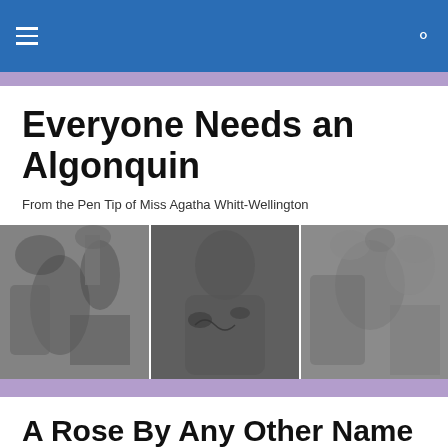Everyone Needs an Algonquin
From the Pen Tip of Miss Agatha Whitt-Wellington
[Figure (photo): Three black-and-white photos side by side: left shows hands pouring tea with a vase of flowers, center shows a person with tattoos hunched over a table, right shows a person with flowers and decorated items.]
A Rose By Any Other Name
What's in a name? you may very well ask. In fact, I will pause and wait while you do.